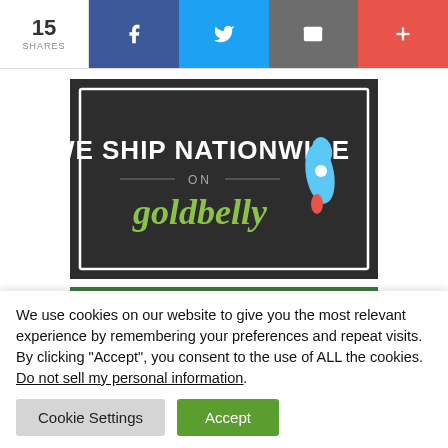15 SHARES | Facebook | Twitter | Email | Plus
[Figure (logo): We Ship Nationwide on Goldbelly banner — dark background with white bold text and a blue rocket illustration]
[Figure (logo): Get Carried Away Shipping logo — green oval with a cartoon pelican carrying a box, on a green and tan background]
We use cookies on our website to give you the most relevant experience by remembering your preferences and repeat visits. By clicking “Accept”, you consent to the use of ALL the cookies. Do not sell my personal information.
Cookie Settings | Accept